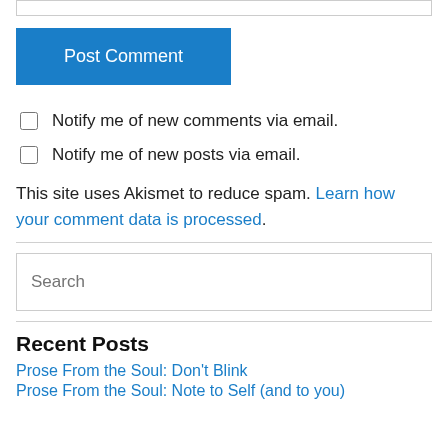[Figure (other): Input text field (partially visible at top)]
[Figure (other): Post Comment button (blue)]
Notify me of new comments via email.
Notify me of new posts via email.
This site uses Akismet to reduce spam. Learn how your comment data is processed.
[Figure (other): Search input field]
Recent Posts
Prose From the Soul: Don't Blink
Prose From the Soul: Note to Self (and to you)